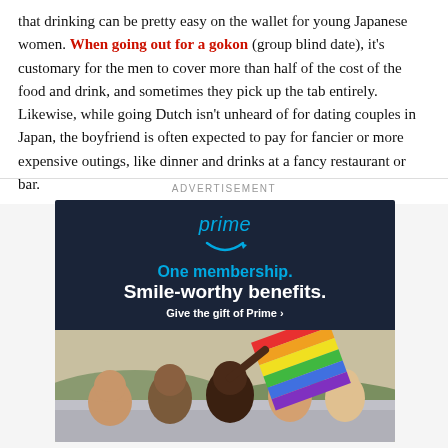that drinking can be pretty easy on the wallet for young Japanese women. When going out for a gokon (group blind date), it's customary for the men to cover more than half of the cost of the food and drink, and sometimes they pick up the tab entirely. Likewise, while going Dutch isn't unheard of for dating couples in Japan, the boyfriend is often expected to pay for fancier or more expensive outings, like dinner and drinks at a fancy restaurant or bar.
ADVERTISEMENT
[Figure (other): Amazon Prime advertisement banner. Dark navy top section with 'prime' logo in blue italic text with Amazon smile arrow icon, followed by 'One membership.' in blue bold text, 'Smile-worthy benefits.' in white bold text, and 'Give the gift of Prime ›' in white bold smaller text. Bottom section shows a photo of a diverse group of young people hanging out of a car sunroof waving a rainbow pride flag outdoors.]